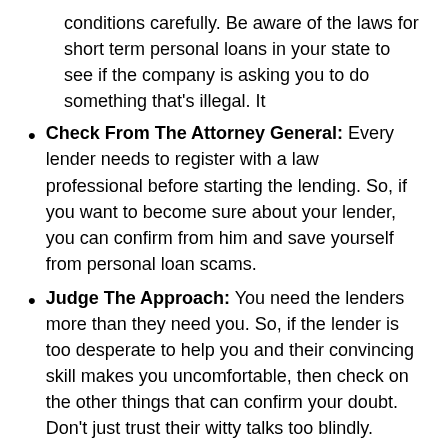conditions carefully. Be aware of the laws for short term personal loans in your state to see if the company is asking you to do something that's illegal. It
Check From The Attorney General: Every lender needs to register with a law professional before starting the lending. So, if you want to become sure about your lender, you can confirm from him and save yourself from personal loan scams.
Judge The Approach: You need the lenders more than they need you. So, if the lender is too desperate to help you and their convincing skill makes you uncomfortable, then check on the other things that can confirm your doubt. Don't just trust their witty talks too blindly.